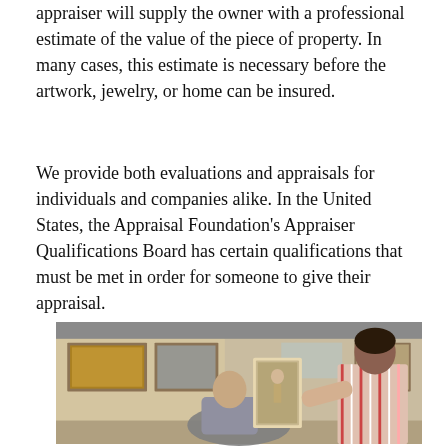appraiser will supply the owner with a professional estimate of the value of the piece of property. In many cases, this estimate is necessary before the artwork, jewelry, or home can be insured.
We provide both evaluations and appraisals for individuals and companies alike. In the United States, the Appraisal Foundation's Appraiser Qualifications Board has certain qualifications that must be met in order for someone to give their appraisal.
[Figure (photo): Two people in a room with artwork on the walls. One person is seated and examining a framed painting while another person in a striped shirt holds the painting upright. Several paintings and artworks are visible in the background.]